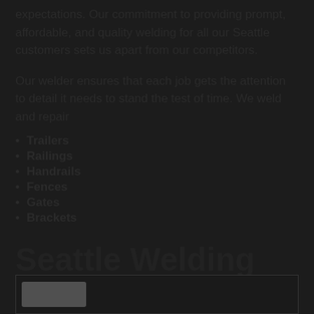expectations. Our commitment to providing prompt, affordable, and quality welding for all our Seattle customers sets us apart from our competitors.
Our welder ensures that each job gets the attention to detail it needs to stand the test of time. We weld and repair
Trailers
Railings
Handrails
Fences
Gates
Brackets
Seattle Welding Services
[Figure (other): Bottom bar/image area partially visible]